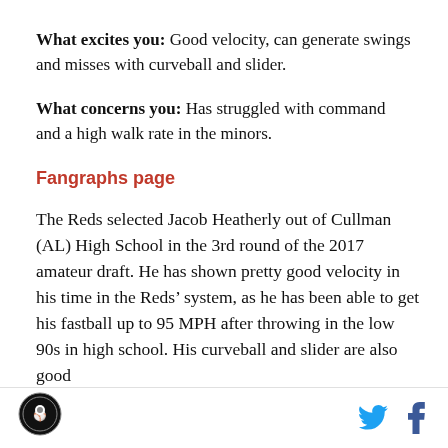What excites you: Good velocity, can generate swings and misses with curveball and slider.
What concerns you: Has struggled with command and a high walk rate in the minors.
Fangraphs page
The Reds selected Jacob Heatherly out of Cullman (AL) High School in the 3rd round of the 2017 amateur draft. He has shown pretty good velocity in his time in the Reds' system, as he has been able to get his fastball up to 95 MPH after throwing in the low 90s in high school. His curveball and slider are also good
Logo | Twitter | Facebook